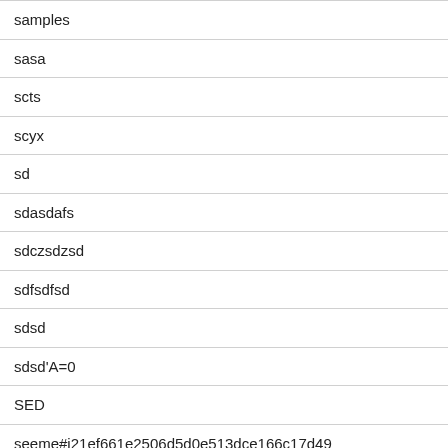| samples |
| sasa |
| scts |
| scyx |
| sd |
| sdasdafs |
| sdczsdzsd |
| sdfsdfsd |
| sdsd |
| sdsd'A=0 |
| SED |
| seeme#i21ef661e2506d5d0e513dce166c17d49 |